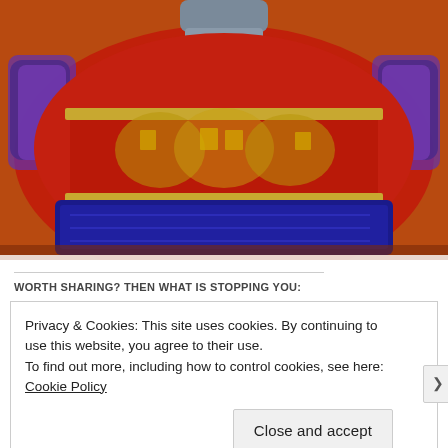[Figure (photo): Close-up photo of a decorative Chinese ornamental item — a red fabric vessel or container with gold embroidered floral and Chinese character patterns, blue trim at the base with intricate Greek key-style border. The background is a warm reddish-orange surface.]
WORTH SHARING? THEN WHAT IS STOPPING YOU:
Privacy & Cookies: This site uses cookies. By continuing to use this website, you agree to their use.
To find out more, including how to control cookies, see here: Cookie Policy
Close and accept